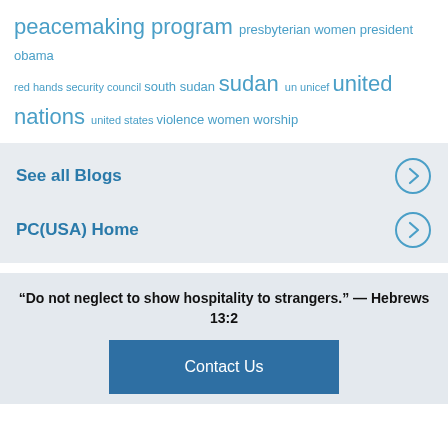peacemaking program presbyterian women president obama red hands security council south sudan sudan un unicef united nations united states violence women worship
See all Blogs
PC(USA) Home
“Do not neglect to show hospitality to strangers.” — Hebrews 13:2
Contact Us